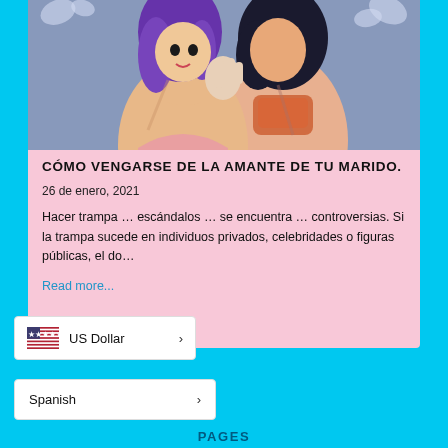[Figure (illustration): Anime-style illustration of two figures in an intimate pose against a floral background. One figure has purple hair, the other has dark hair, both rendered in a cartoon/comic style with pink and coral tones.]
CÓMO VENGARSE DE LA AMANTE DE TU MARIDO.
26 de enero, 2021
Hacer trampa … escándalos … se encuentra … controversias. Si la trampa sucede en individuos privados, celebridades o figuras públicas, el do…
Read more...
US Dollar
Spanish
PAGES